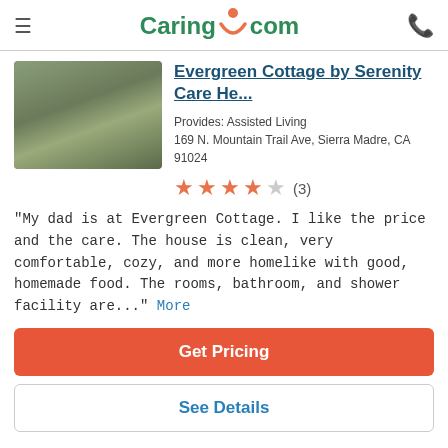Caring.com
[Figure (photo): Exterior photo of a small cottage-style house with trees and a front yard walkway]
Evergreen Cottage by Serenity Care He...
Provides: Assisted Living
169 N. Mountain Trail Ave, Sierra Madre, CA 91024
★★★★☆ (3)
"My dad is at Evergreen Cottage. I like the price and the care. The house is clean, very comfortable, cozy, and more homelike with good, homemade food. The rooms, bathroom, and shower facility are..." More
Get Pricing
See Details